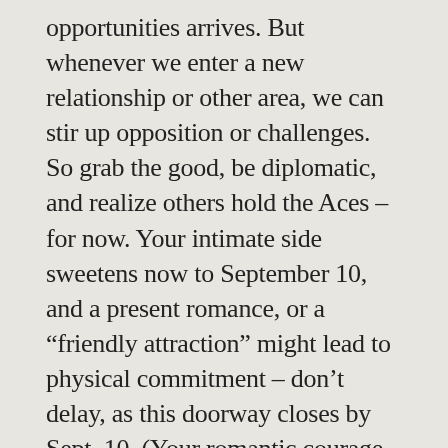opportunities arrives. But whenever we enter a new relationship or other area, we can stir up opposition or challenges. So grab the good, be diplomatic, and realize others hold the Aces – for now. Your intimate side sweetens now to September 10, and a present romance, or a “friendly attraction” might lead to physical commitment – don’t delay, as this doorway closes by Sept. 10. (Your romantic courage will ebb a little by Aug. 27, too.) Sunday’s optimistic, friendly, happy – could spark an attraction, or an argument. Retreat, rest and contemplate Monday/Tuesday. Your energy and charisma surge Wednesday/Thursday – start or continue anything; almost everything succeeds! Be careful with money, possessions and sensual attractions Friday/Saturday.